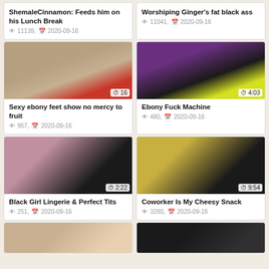ShemaleCinnamon: Feeds him on his Lunch Break
👁 11139, 📅 2020-09-16
Worshiping Ginger's fat black ass
👁 11041, 📅 2020-09-16
[Figure (photo): Ebony feet crushing strawberries on floor, duration 16s]
Sexy ebony feet show no mercy to fruit
👁 957, 📅 2020-09-16
[Figure (photo): Woman in yellow bikini on bed, duration 4:03]
Ebony Fuck Machine
👁 480, 📅 2020-09-16
[Figure (photo): Black woman in lingerie smiling, duration 2:22]
Black Girl Lingerie & Perfect Tits
👁 251, 📅 2020-09-16
[Figure (photo): Woman with glasses close-up, duration 9:54]
Coworker Is My Cheesy Snack
👁 3280, 📅 2020-09-16
[Figure (photo): Bottom left partial thumbnail]
[Figure (photo): Bottom right partial thumbnail]